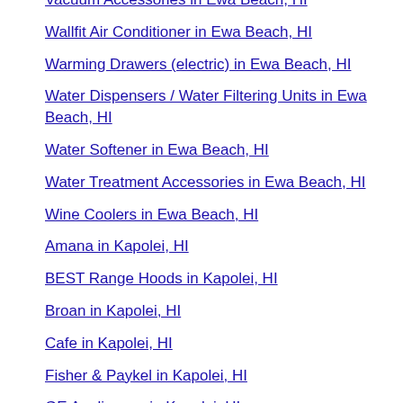Vacuum Accessories in Ewa Beach, HI
Wallfit Air Conditioner in Ewa Beach, HI
Warming Drawers (electric) in Ewa Beach, HI
Water Dispensers / Water Filtering Units in Ewa Beach, HI
Water Softener in Ewa Beach, HI
Water Treatment Accessories in Ewa Beach, HI
Wine Coolers in Ewa Beach, HI
Amana in Kapolei, HI
BEST Range Hoods in Kapolei, HI
Broan in Kapolei, HI
Cafe in Kapolei, HI
Fisher & Paykel in Kapolei, HI
GE Appliances in Kapolei, HI